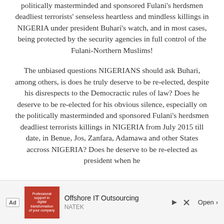politically masterminded and sponsored Fulani's herdsmen deadliest terrorists' senseless heartless and mindless killings in NIGERIA under president Buhari's watch, and in most cases, being protected by the security agencies in full control of the Fulani-Northern Muslims!
The unbiased questions NIGERIANS should ask Buhari, among others, is does he truly deserve to be re-elected, despite his disrespects to the Democractic rules of law? Does he deserve to be re-elected for his obvious silence, especially on the politically masterminded and sponsored Fulani's herdsmen deadliest terrorists killings in NIGERIA from July 2015 till date, in Benue, Jos, Zanfara, Adamawa and other States accross NIGERIA? Does he deserve to be re-elected as president when he
[Figure (other): Advertisement bar for Offshore IT Outsourcing by NATEK with Open button]